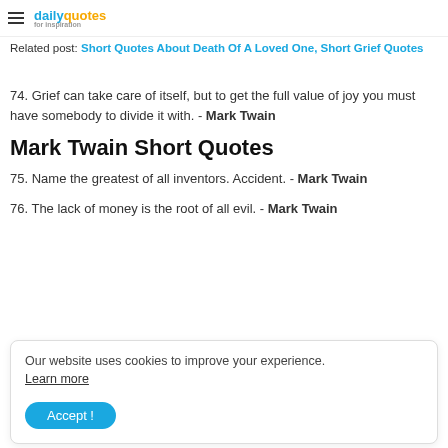dailyquotes — Related post: Short Quotes About Death Of A Loved One, Short Grief Quotes
74. Grief can take care of itself, but to get the full value of joy you must have somebody to divide it with. - Mark Twain
Mark Twain Short Quotes
75. Name the greatest of all inventors. Accident. - Mark Twain
76. The lack of money is the root of all evil. - Mark Twain
Our website uses cookies to improve your experience. Learn more. Accept!